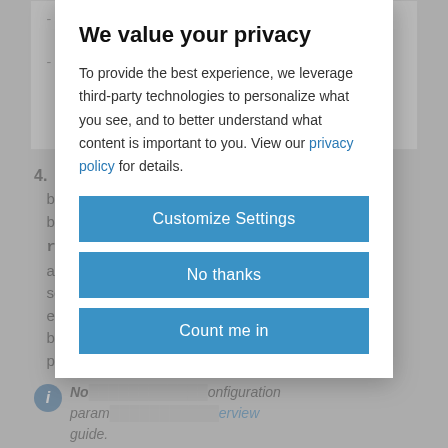- var... TER
- var... EWAYS
- va...
4. To adv...on between...e TMM beyond... f5-tmm-routing...abled, and a Bor...(BGP) session...with an extern...meters below...BGP peering...
Note: No...onfiguration parameters...erview guide.
We value your privacy
To provide the best experience, we leverage third-party technologies to personalize what you see, and to better understand what content is important to you. View our privacy policy for details.
Customize Settings
No thanks
Count me in